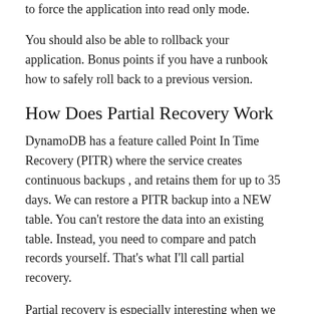to force the application into read only mode.
You should also be able to rollback your application. Bonus points if you have a runbook how to safely roll back to a previous version.
How Does Partial Recovery Work
DynamoDB has a feature called Point In Time Recovery (PITR) where the service creates continuous backups , and retains them for up to 35 days. We can restore a PITR backup into a NEW table. You can't restore the data into an existing table. Instead, you need to compare and patch records yourself. That's what I'll call partial recovery.
Partial recovery is especially interesting when we deal with large tables, where a full table restore would take significantly longer. With partial recovery we can decide to ignore GSIs during recovery and therefore lower the restoration time. We may also be able to keep the application running for customers that are not impacted